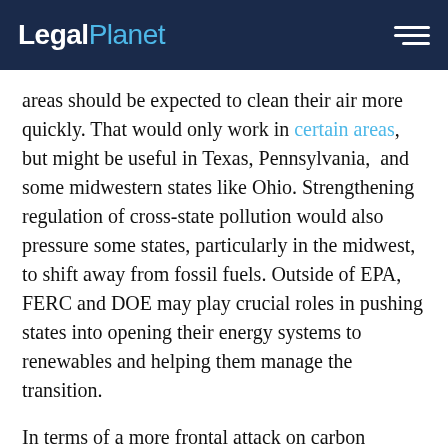LegalPlanet
areas should be expected to clean their air more quickly. That would only work in certain areas, but might be useful in Texas, Pennsylvania,  and some midwestern states like Ohio. Strengthening regulation of cross-state pollution would also pressure some states, particularly in the midwest, to shift away from fossil fuels. Outside of EPA, FERC and DOE may play crucial roles in pushing states into opening their energy systems to renewables and helping them manage the transition.
In terms of a more frontal attack on carbon emissions by EPA, I'm inclined to think we shouldn't put all of our eggs in one basket. The Obama regulation of carbon from power plants was based on section 111(d) of the Clean Air Act. It's not clear whether the Supreme